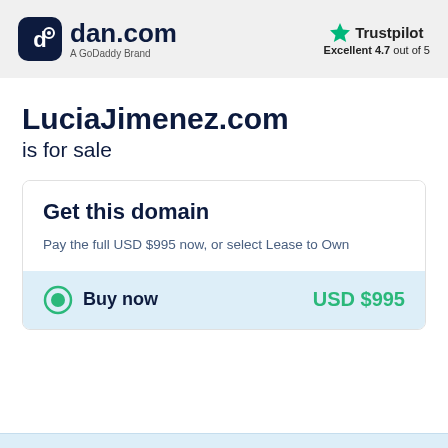dan.com — A GoDaddy Brand | Trustpilot Excellent 4.7 out of 5
LuciaJimenez.com is for sale
Get this domain
Pay the full USD $995 now, or select Lease to Own
Buy now USD $995